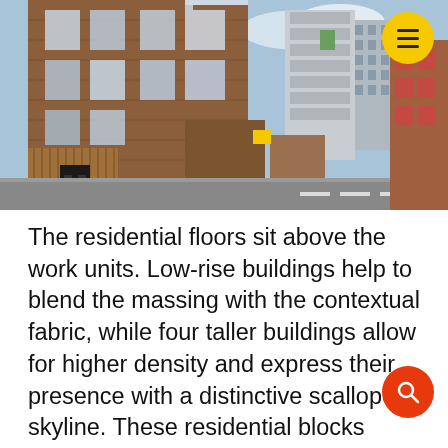[Figure (photo): Street-level photograph of a mixed-use urban residential development showing brick-clad multi-storey buildings with large windows, balconies, and lower industrial-style units along a road. Several taller buildings are visible in the background under a partly cloudy sky.]
The residential floors sit above the work units. Low-rise buildings help to blend the massing with the contextual fabric, while four taller buildings allow for higher density and express their presence with a distinctive scalloped skyline. These residential blocks have been configured to provide the vast majority of homes with dual or corner